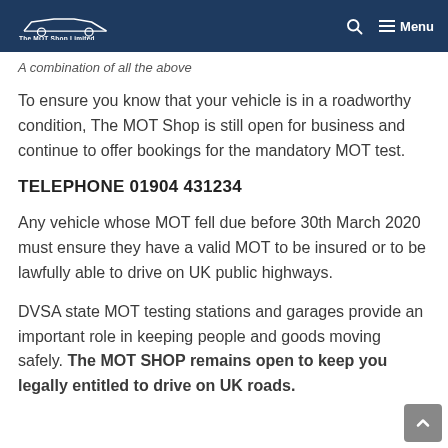The MOT Shop Limited — Menu
A combination of all the above
To ensure you know that your vehicle is in a roadworthy condition, The MOT Shop is still open for business and continue to offer bookings for the mandatory MOT test.
TELEPHONE 01904 431234
Any vehicle whose MOT fell due before 30th March 2020 must ensure they have a valid MOT to be insured or to be lawfully able to drive on UK public highways.
DVSA state MOT testing stations and garages provide an important role in keeping people and goods moving safely. The MOT SHOP remains open to keep you legally entitled to drive on UK roads.